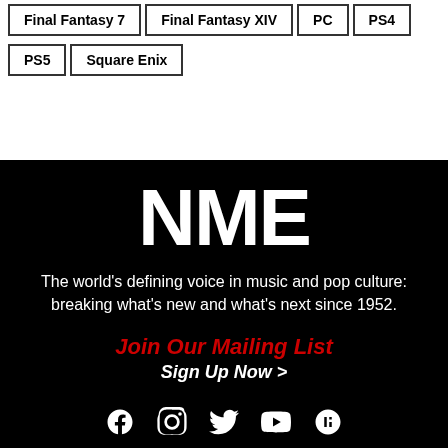Final Fantasy 7
Final Fantasy XIV
PC
PS4
PS5
Square Enix
[Figure (logo): NME logo in white bold text on black background]
The world's defining voice in music and pop culture: breaking what's new and what's next since 1952.
Join Our Mailing List
Sign Up Now >
[Figure (illustration): Social media icons: Facebook, Instagram, Twitter, YouTube, and a music/tumbler icon in white on black background]